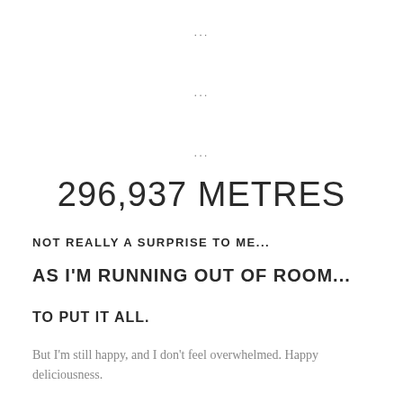...
...
...
296,937 METRES
NOT REALLY A SURPRISE TO ME...
AS I'M RUNNING OUT OF ROOM...
TO PUT IT ALL.
But I'm still happy, and I don't feel overwhelmed. Happy deliciousness.